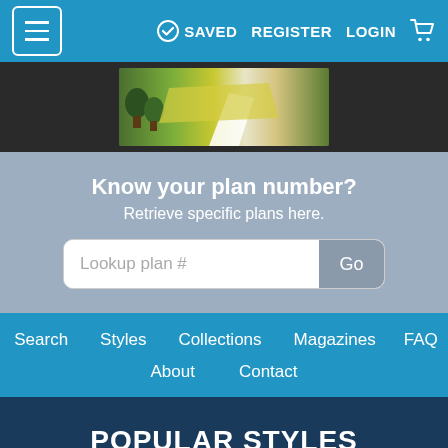SAVED REGISTER LOGIN
[Figure (photo): Aerial view of a house with green and yellow landscaping, showing a white road/path.]
Know your plan number?
Retrieve specific plans here.
Lookup plan #  Go
Search
Styles
Collections
Magazines
FAQ
About
Contact
POPULAR STYLES
Adobe / Southwestern
Bungalow